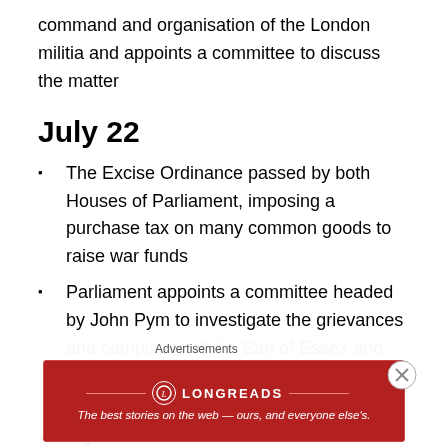command and organisation of the London militia and appoints a committee to discuss the matter
July 22
The Excise Ordinance passed by both Houses of Parliament, imposing a purchase tax on many common goods to raise war funds
Parliament appoints a committee headed by John Pym to investigate the grievances and complaints of the Earl of Essex and his officers
July 23
Advertisements
[Figure (infographic): Longreads advertisement banner: red background with Longreads logo and tagline 'The best stories on the web — ours, and everyone else's.']